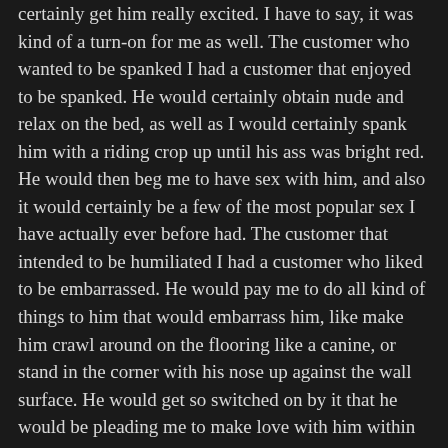certainly get him really excited. I have to say, it was kind of a turn-on for me as well. The customer who wanted to be spanked I had a customer that enjoyed to be spanked. He would certainly obtain nude and relax on the bed, as well as I would certainly spank him with a riding crop up until his ass was bright red. He would then beg me to have sex with him, and also it would certainly be a few of the most popular sex I have actually ever before had. The customer that intended to be humiliated I had a customer who liked to be embarrassed. He would pay me to do all kind of things to him that would embarrass him, like make him crawl around on the flooring like a canine, or stand in the corner with his nose up against the wall surface. He would get so switched on by it that he would be pleading me to make love with him within mins.
The customer who intended to be dominated I had a customer who liked to be controlled. He would certainly pay me to connect him up and do whatever I intended to